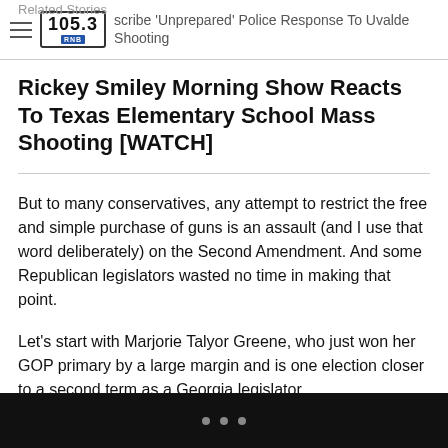Related Stories
105.3 RNB — [partially visible headline] scribe 'Unprepared' Police Response To Uvalde Shooting
Rickey Smiley Morning Show Reacts To Texas Elementary School Mass Shooting [WATCH]
But to many conservatives, any attempt to restrict the free and simple purchase of guns is an assault (and I use that word deliberately) on the Second Amendment. And some Republican legislators wasted no time in making that point.
Let's start with Marjorie Talyor Greene, who just won her GOP primary by a large margin and is one election closer to a second term as a Georgia legislator.